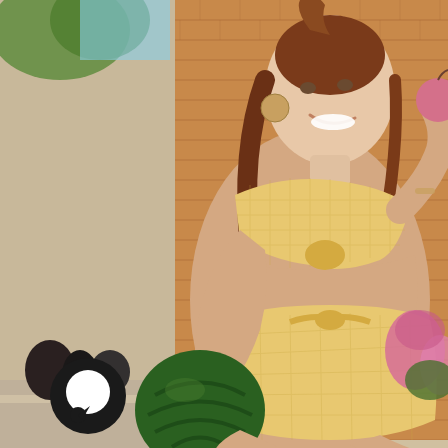[Figure (photo): A young woman with long auburn hair in a high ponytail sits outdoors on a ledge or bench against a brick wall background. She is wearing a yellow gingham checkered two-piece bikini set with a knotted bandeau top and high-waisted bottoms. She holds a whole watermelon in her left hand and a small pink apple or peach in her raised right hand. She wears large round earrings and sunglasses hang at her neckline. Pink flowers are visible in the background on the right. A black circular chat bubble icon is overlaid in the bottom-left corner of the image.]